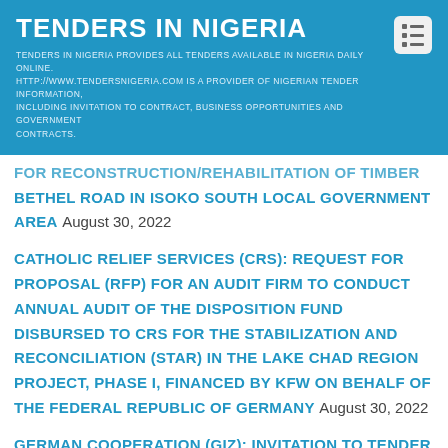TENDERS IN NIGERIA
TENDERS IN NIGERIA PROVIDES ALL TENDERS AVAILABLE IN NIGERIA DAILY ONLINE. HTTP://WWW.TENDERSNIGERIA.COM IS A PROVIDER OF NIGERIAN TENDER INFORMATION, INCLUDING INVITATION TO CONTRACT, BUSINESS OPPORTUNITIES AND GOVERNMENT CONTRACTS.
FOR RECONSTRUCTION/REHABILITATION OF TIMBER BETHEL ROAD IN ISOKO SOUTH LOCAL GOVERNMENT AREA August 30, 2022
CATHOLIC RELIEF SERVICES (CRS): REQUEST FOR PROPOSAL (RFP) FOR AN AUDIT FIRM TO CONDUCT ANNUAL AUDIT OF THE DISPOSITION FUND DISBURSED TO CRS FOR THE STABILIZATION AND RECONCILIATION (STAR) IN THE LAKE CHAD REGION PROJECT, PHASE I, FINANCED BY KFW ON BEHALF OF THE FEDERAL REPUBLIC OF GERMANY August 30, 2022
GERMAN COOPERATION (GIZ): INVITATION TO TENDER FOR PROVISION OF CONSULTANCY TO FACILITATE